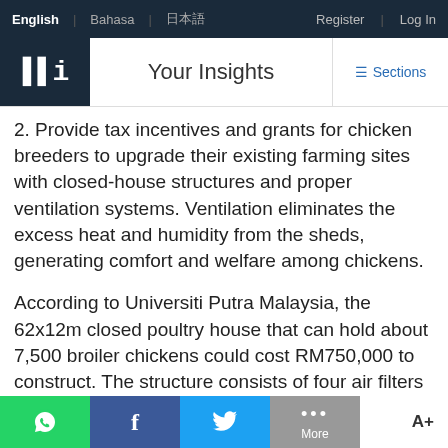English | Bahasa | [language] | Register | Log In
Your Insights | Sections
2. Provide tax incentives and grants for chicken breeders to upgrade their existing farming sites with closed-house structures and proper ventilation systems. Ventilation eliminates the excess heat and humidity from the sheds, generating comfort and welfare among chickens.
According to Universiti Putra Malaysia, the 62x12m closed poultry house that can hold about 7,500 broiler chickens could cost RM750,000 to construct. The structure consists of four air filters
WhatsApp | Facebook | Twitter | More | A+